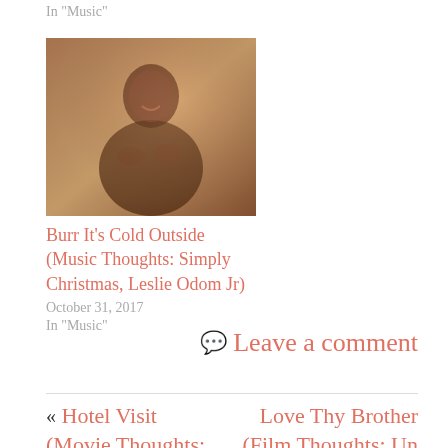In "Music"
[Figure (photo): A smiling man in a dark shirt, hands together, warm wooden background lighting]
Burr It’s Cold Outside (Music Thoughts: Simply Christmas, Leslie Odom Jr)
October 31, 2017
In "Music"
💬 Leave a comment
« Hotel Visit (Movie Thoughts:
Love Thy Brother (Film Thoughts: Un